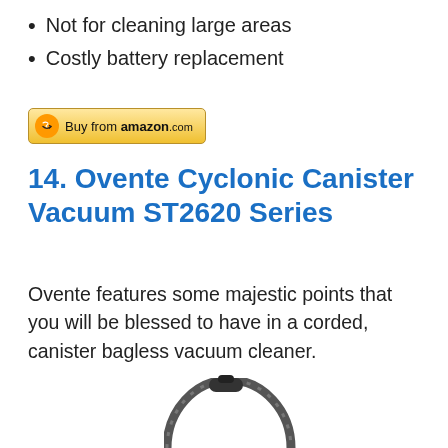Not for cleaning large areas
Costly battery replacement
[Figure (logo): Buy from amazon.com button with Amazon logo]
14. Ovente Cyclonic Canister Vacuum ST2620 Series
Ovente features some majestic points that you will be blessed to have in a corded, canister bagless vacuum cleaner.
[Figure (photo): Photo of the Ovente Cyclonic Canister Vacuum ST2620, a grey canister vacuum cleaner with a large circular hose loop]